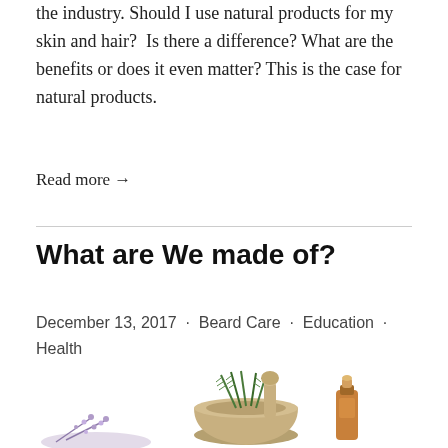the industry. Should I use natural products for my skin and hair?  Is there a difference? What are the benefits or does it even matter? This is the case for natural products.
Read more →
What are We made of?
December 13, 2017  ·  Beard Care  ·  Education  ·  Health
[Figure (photo): Mortar and pestle with rosemary herbs and essential oil bottle, representing natural ingredients]